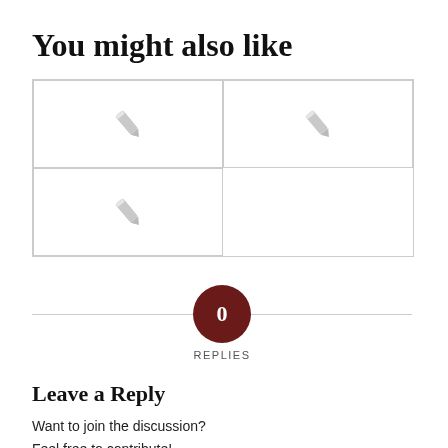You might also like
[Figure (illustration): A 2x2 grid of placeholder image cards, each showing a grey pencil icon in the center. The grid has 3 cards: top-left, top-right, and bottom-left (bottom-right is empty).]
[Figure (infographic): A horizontal divider line with a dark red circle in the center containing the number 0, and the word REPLIES below it.]
Leave a Reply
Want to join the discussion?
Feel free to contribute!